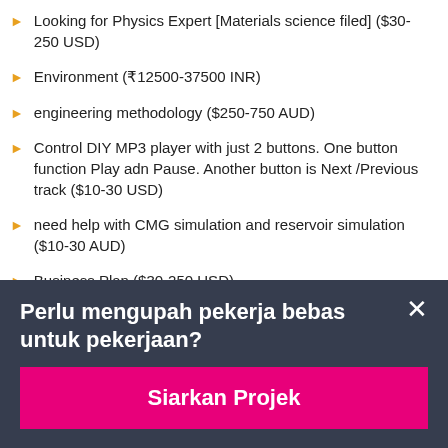Looking for Physics Expert [Materials science filed] ($30-250 USD)
Environment (₹12500-37500 INR)
engineering methodology ($250-750 AUD)
Control DIY MP3 player with just 2 buttons. One button function Play adn Pause. Another button is Next /Previous track ($10-30 USD)
need help with CMG simulation and reservoir simulation ($10-30 AUD)
Business Plan ($30-250 USD)
Perlu mengupah pekerja bebas untuk pekerjaan?
Siarkan Projek